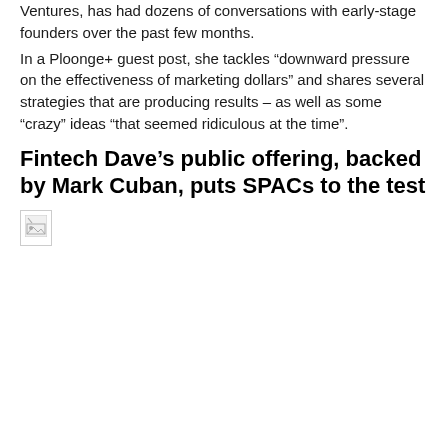Ventures, has had dozens of conversations with early-stage founders over the past few months.
In a Ploonge+ guest post, she tackles “downward pressure on the effectiveness of marketing dollars” and shares several strategies that are producing results – as well as some “crazy” ideas “that seemed ridiculous at the time”.
Fintech Dave’s public offering, backed by Mark Cuban, puts SPACs to the test
[Figure (photo): Broken image placeholder icon, small thumbnail with image load error icon]